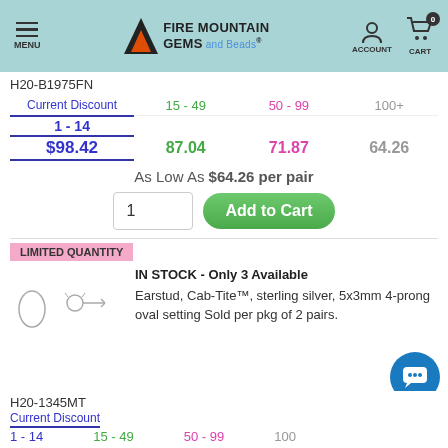[Figure (screenshot): Fire Mountain Gems and Beads website header with navigation menu, logo, account and cart icons on teal background]
H20-B1975FN
| Current Discount | 15 - 49 | 50 - 99 | 100+ |
| --- | --- | --- | --- |
| 1 - 14 | 15 - 49 | 50 - 99 | 100+ |
| $98.42 | 87.04 | 71.87 | 64.26 |
As Low As $64.26 per pair
LIMITED QUANTITY
IN STOCK - Only 3 Available
Earstud, Cab-Tite™, sterling silver, 5x3mm 4-prong oval setting Sold per pkg of 2 pairs.
H20-1345MT
Current Discount